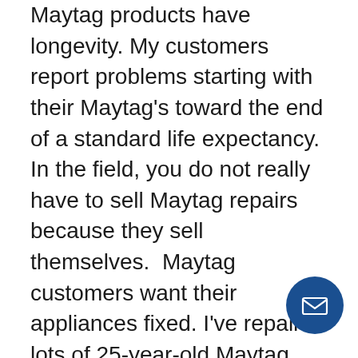Maytag products have longevity. My customers report problems starting with their Maytag's toward the end of a standard life expectancy. In the field, you do not really have to sell Maytag repairs because they sell themselves.  Maytag customers want their appliances fixed. I've repaired lots of 25-year-old Maytag appliances against my own advice! "Are you sure you want to fix this thing. I mean It's 25-years-old and I'm charging you $400 to repair it. For $400 you can get a new machine of almost any brand you want!" These customers reply, "It has really been a great machine, forget about the money, if it's worth fixing in your opinion as a repairman then I'd rather put the $400 into my Maytag." "You got it!" I'll say. I've worked on and fix Maytag washers, I've had two customers had working 40 to 50-year-old Maytag
[Figure (other): Blue circular email/contact button with envelope icon in bottom right corner]